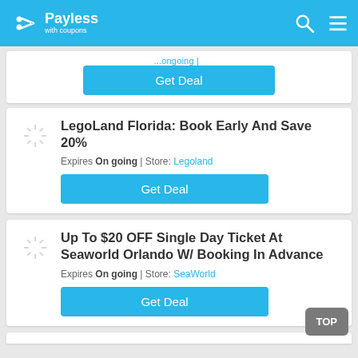Payless with coupons
...ongoing...
Get Deal
LegoLand Florida: Book Early And Save 20%
Expires On going | Store: Legoland
Get Deal
Up To $20 OFF Single Day Ticket At Seaworld Orlando W/ Booking In Advance
Expires On going | Store: SeaWorld
Get Deal